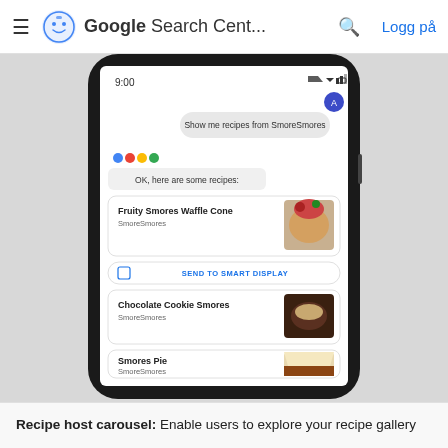Google Search Cent...  Logg på
[Figure (screenshot): A smartphone screen showing a Google Assistant conversation. The user asked 'Show me recipes from SmoreSmores'. The assistant replied 'OK, here are some recipes:' and displayed a carousel of recipes: 'Fruity Smores Waffle Cone' by SmoreSmores with an image of a waffle cone with fruit, a 'SEND TO SMART DISPLAY' button, 'Chocolate Cookie Smores' by SmoreSmores with a dark dessert image, and 'Smores Pie' by SmoreSmores with a pie slice image.]
Recipe host carousel: Enable users to explore your recipe gallery